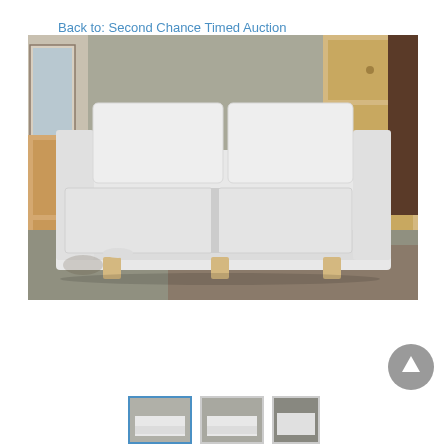Back to: Second Chance Timed Auction
[Figure (photo): White fabric sofa/couch with two seat cushions and two back cushions, light wood legs, displayed in what appears to be a warehouse or auction house setting with other furniture visible in the background including a dresser and cabinet.]
[Figure (photo): Scroll-to-top button (circular gray button with upward arrow)]
[Figure (photo): Thumbnail images of the white sofa from different angles at the bottom of the page]